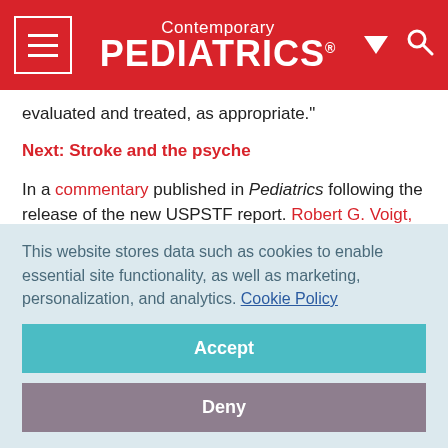Contemporary PEDIATRICS
evaluated and treated, as appropriate.”
Next: Stroke and the psyche
In a commentary published in Pediatrics following the release of the new USPSTF report. Robert G. Voigt, MD, and Pasquale J. Accardo, MD, point out that only 720 of the nation’s 10,000-plus board-certified pediatricians are certified in developmental-behavioral pediatrics, and only 255 are
This website stores data such as cookies to enable essential site functionality, as well as marketing, personalization, and analytics. Cookie Policy
Accept
Deny